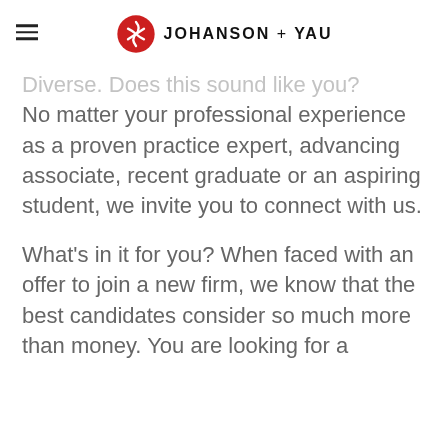Johanson + Yau
Diverse. Does this sound like you? No matter your professional experience as a proven practice expert, advancing associate, recent graduate or an aspiring student, we invite you to connect with us.
What's in it for you? When faced with an offer to join a new firm, we know that the best candidates consider so much more than money. You are looking for a